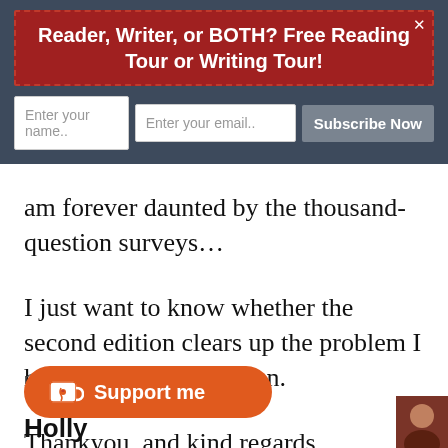Reader, Writer, or BOTH? Free Reading Tour or Writing Tour!
[Figure (infographic): Newsletter subscription form with name input, email input, and Subscribe Now button on dark background]
am forever daunted by the thousand-question surveys…
I just want to know whether the second edition clears up the problem I had with the first edition.
Thankyou, and kind regards.
[Figure (illustration): Orange 'Support me' button with coffee cup icon]
Holly